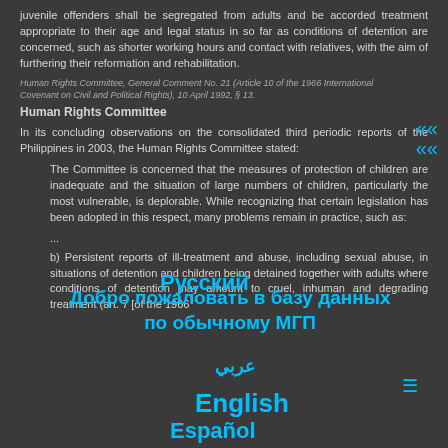juvenile offenders shall be segregated from adults and be accorded treatment appropriate to their age and legal status in so far as conditions of detention are concerned, such as shorter working hours and contact with relatives, with the aim of furthering their reformation and rehabilitation.
Human Rights Committee, General Comment No. 21 (Article 10 of the 1966 International Covenant on Civil and Political Rights), 10 April 1992, § 13.
Human Rights Committee
In its concluding observations on the consolidated third periodic reports of the Philippines in 2003, the Human Rights Committee stated:
The Committee is concerned that the measures of protection of children are inadequate and the situation of large numbers of children, particularly the most vulnerable, is deplorable. While recognizing that certain legislation has been adopted in this respect, many problems remain in practice, such as:
...
b) Persistent reports of ill-treatment and abuse, including sexual abuse, in situations of detention and children being detained together with adults where conditions of detention may amount to cruel, inhuman and degrading treatment (art. 7 [of the 1966